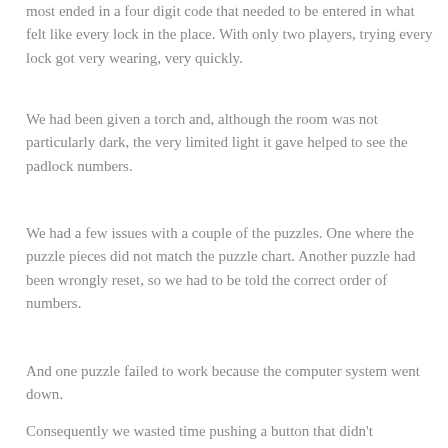most ended in a four digit code that needed to be entered in what felt like every lock in the place. With only two players, trying every lock got very wearing, very quickly.
We had been given a torch and, although the room was not particularly dark, the very limited light it gave helped to see the padlock numbers.
We had a few issues with a couple of the puzzles. One where the puzzle pieces did not match the puzzle chart. Another puzzle had been wrongly reset, so we had to be told the correct order of numbers.
And one puzzle failed to work because the computer system went down.
Consequently we wasted time pushing a button that didn't